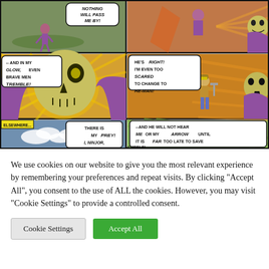[Figure (illustration): Comic book page panels showing a villain character (skull-faced figure in purple cape) with speech bubbles. Top row: two panels with action scenes. Middle row: large panel with glowing skull villain saying 'AND IN MY GLOW, EVEN BRAVE MEN TREMBLE!' and right panel with hero saying 'HE'S RIGHT! I'M EVEN TOO SCARED TO CHANGE TO HE-MAN!'. Bottom row: 'ELSEWHERE...' caption panel with 'THERE IS MY PREY! I, NINJOR,' and right panel '--AND HE WILL NOT HEAR ME OR MY ARROW UNTIL IT IS FAR TOO LATE TO SAVE HIMSELF!']
We use cookies on our website to give you the most relevant experience by remembering your preferences and repeat visits. By clicking "Accept All", you consent to the use of ALL the cookies. However, you may visit "Cookie Settings" to provide a controlled consent.